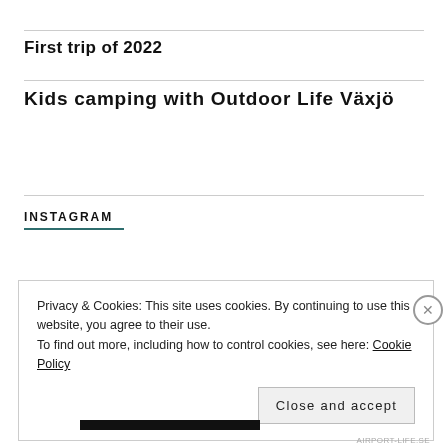First trip of 2022
Kids camping with Outdoor Life Växjö
INSTAGRAM
Privacy & Cookies: This site uses cookies. By continuing to use this website, you agree to their use.
To find out more, including how to control cookies, see here: Cookie Policy
Close and accept
AIRPORT-LIFE.SE